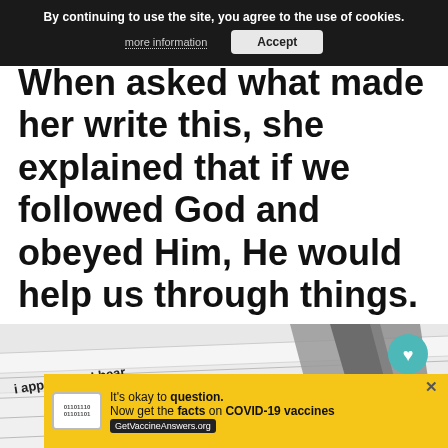By continuing to use the site, you agree to the use of cookies.
more information | Accept
When asked what made her write this, she explained that if we followed God and obeyed Him, He would help us through things.
[Figure (photo): Close-up photo of book pages fanned open with text 'apply what I hear' visible on one page, with navigation UI buttons (heart/share) overlaid on the right side]
WHAT'S NEXT → 25 Free Printable...
It's okay to question. Now get the facts on COVID-19 vaccines GetVaccineAnswers.org